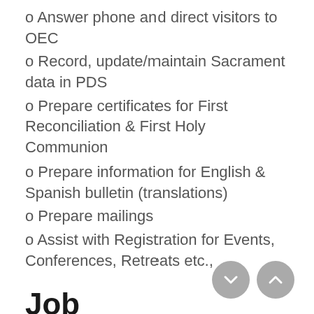o Answer phone and direct visitors to OEC
o Record, update/maintain Sacrament data in PDS
o Prepare certificates for First Reconciliation & First Holy Communion
o Prepare information for English & Spanish bulletin (translations)
o Prepare mailings
o Assist with Registration for Events, Conferences, Retreats etc.,
Job Requirements
QUALIFICATIONS
Must be English-Spanish bilingual (able to speak, write, and translate)
Computer skills/experience with office software applications; should include Microsoft